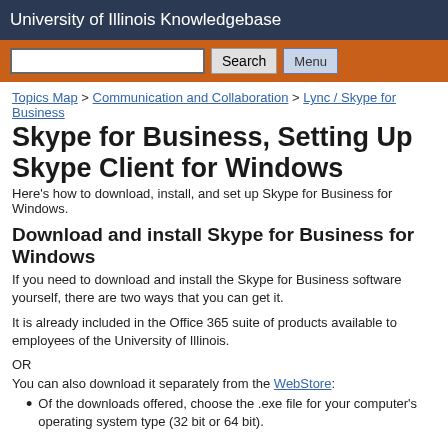University of Illinois Knowledgebase
[Figure (screenshot): Search bar with text input, Search button, and Menu button on orange background]
Topics Map > Communication and Collaboration > Lync / Skype for Business
Skype for Business, Setting Up Skype Client for Windows
Here's how to download, install, and set up Skype for Business for Windows.
Download and install Skype for Business for Windows
If you need to download and install the Skype for Business software yourself, there are two ways that you can get it.
It is already included in the Office 365 suite of products available to employees of the University of Illinois.
OR
You can also download it separately from the WebStore:
Of the downloads offered, choose the .exe file for your computer's operating system type (32 bit or 64 bit).